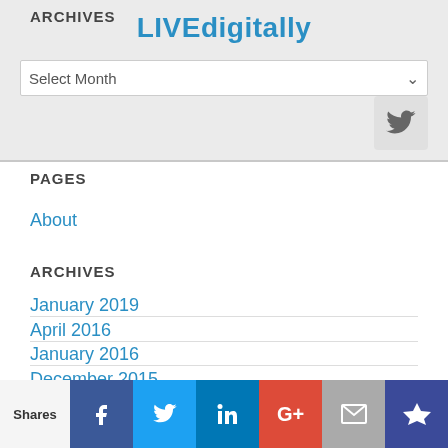ARCHIVES
LIVEdigitally
Select Month
[Figure (screenshot): Twitter bird icon button]
PAGES
About
ARCHIVES
January 2019
April 2016
January 2016
December 2015
Shares  Facebook  Twitter  LinkedIn  Google+  Email  Crown